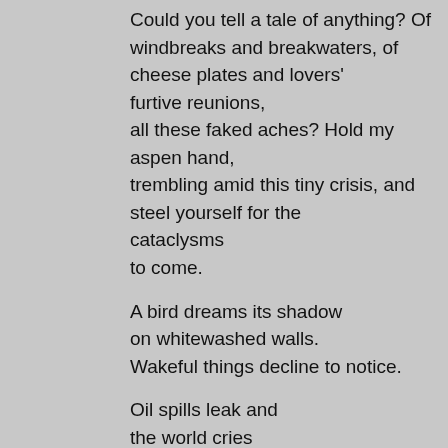Could you tell a tale of anything? Of windbreaks and breakwaters, of cheese plates and lovers' furtive reunions, all these faked aches? Hold my aspen hand, trembling amid this tiny crisis, and steel yourself for the cataclysms to come.
A bird dreams its shadow on whitewashed walls. Wakeful things decline to notice.
Oil spills leak and the world cries ever more echoes.
The sadness will last forever.
They worked on trains and chimney stacks, climbed up walls, rode steaming tracks,